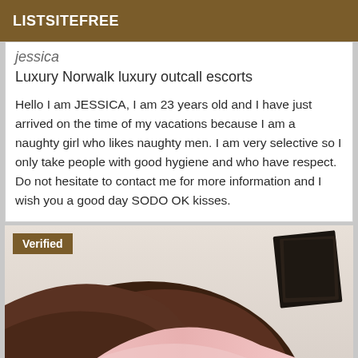LISTSITEFREE
jessica
Luxury Norwalk luxury outcall escorts
Hello I am JESSICA, I am 23 years old and I have just arrived on the time of my vacations because I am a naughty girl who likes naughty men. I am very selective so I only take people with good hygiene and who have respect. Do not hesitate to contact me for more information and I wish you a good day SODO OK kisses.
[Figure (photo): A close-up photo with a 'Verified' badge overlay in the top-left corner. The image shows a dark-skinned person with pink fabric visible, and what appears to be a dark card/photo in the upper right area.]